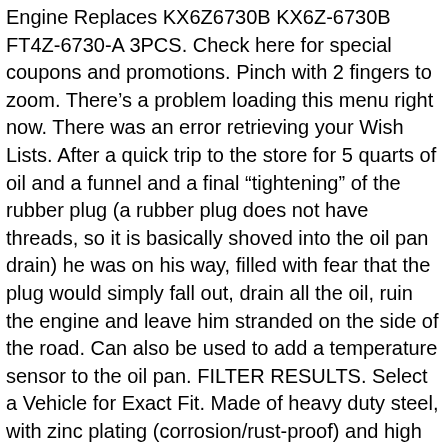Engine Replaces KX6Z6730B KX6Z-6730B FT4Z-6730-A 3PCS. Check here for special coupons and promotions. Pinch with 2 fingers to zoom. There's a problem loading this menu right now. There was an error retrieving your Wish Lists. After a quick trip to the store for 5 quarts of oil and a funnel and a final "tightening" of the rubber plug (a rubber plug does not have threads, so it is basically shoved into the oil pan drain) he was on his way, filled with fear that the plug would simply fall out, drain all the oil, ruin the engine and leave him stranded on the side of the road. Can also be used to add a temperature sensor to the oil pan. FILTER RESULTS. Select a Vehicle for Exact Fit. Made of heavy duty steel, with zinc plating (corrosion/rust-proof) and high temperature plastic. This fits your . Dorman 090-932CD Universal Oil Drain Plug 5/8 In. Brand: Tri Component. Using a universal oil drain plug is similar to using a non-universal, or ânormal,â one. Find answers in product info, Q&As, reviews. SELECT STORE. Brand. Replacement is essential during routine vehicle oil changes. Email. Please try again.